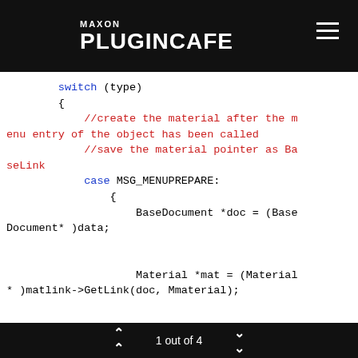MAXON PLUGINCAFE
[Figure (screenshot): Code block showing C++ switch statement with MSG_MENUPREPARE case, BaseDocument pointer, Material pointer, and if(!mat) block]
1 out of 4